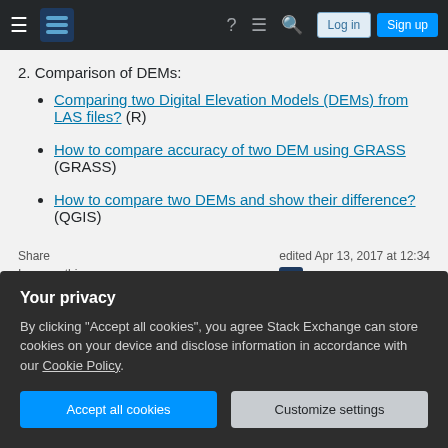Stack Exchange navigation bar with hamburger menu, logo, help, chat, search icons, Log in and Sign up buttons
2. Comparison of DEMs:
Comparing two Digital Elevation Models (DEMs) from LAS files? (R)
How to compare accuracy of two DEM using GRASS (GRASS)
How to compare two DEMs and show their difference? (QGIS)
Share  |  edited Apr 13, 2017 at 12:34  |  Improve this answer  |  Community Bot
Your privacy
By clicking "Accept all cookies", you agree Stack Exchange can store cookies on your device and disclose information in accordance with our Cookie Policy.
Accept all cookies  Customize settings